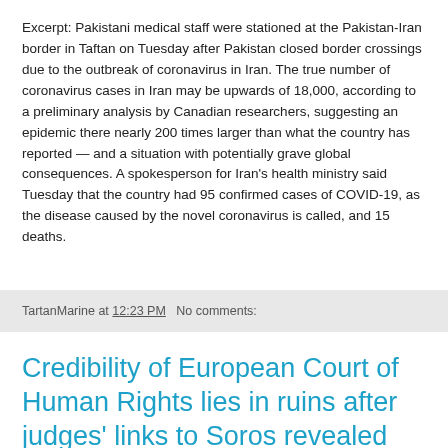Excerpt: Pakistani medical staff were stationed at the Pakistan-Iran border in Taftan on Tuesday after Pakistan closed border crossings due to the outbreak of coronavirus in Iran. The true number of coronavirus cases in Iran may be upwards of 18,000, according to a preliminary analysis by Canadian researchers, suggesting an epidemic there nearly 200 times larger than what the country has reported — and a situation with potentially grave global consequences. A spokesperson for Iran's health ministry said Tuesday that the country had 95 confirmed cases of COVID-19, as the disease caused by the novel coronavirus is called, and 15 deaths.
TartanMarine at 12:23 PM   No comments:
Credibility of European Court of Human Rights lies in ruins after judges' links to Soros revealed